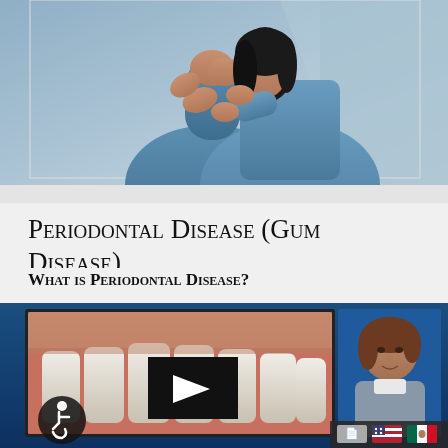[Figure (photo): Photo of two people embracing, one appears to be in pain, against a blue-grey background]
Periodontal Disease (Gum Disease)
What is Periodontal Disease?
[Figure (screenshot): Video thumbnail showing a dental/teeth diagram on the left and a female presenter speaking on the right, with a play button overlay, accessibility icon, and flag icons for language selection]